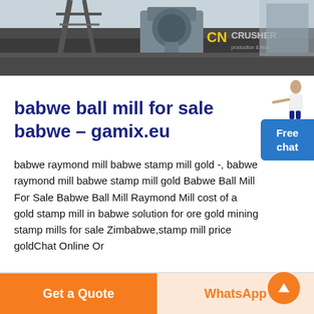[Figure (photo): Industrial crusher machinery photo with 'CN CRUSHER' yellow and grey logo overlay on dark industrial background]
[Figure (photo): Small woman figure pointing, above a blue 'Free chat' button on the right side]
babwe ball mill for sale babwe - gamix.eu
babwe raymond mill babwe stamp mill gold -, babwe raymond mill babwe stamp mill gold Babwe Ball Mill For Sale Babwe Ball Mill Raymond Mill cost of a gold stamp mill in babwe solution for ore gold mining stamp mills for sale Zimbabwe,stamp mill price goldChat Online Or